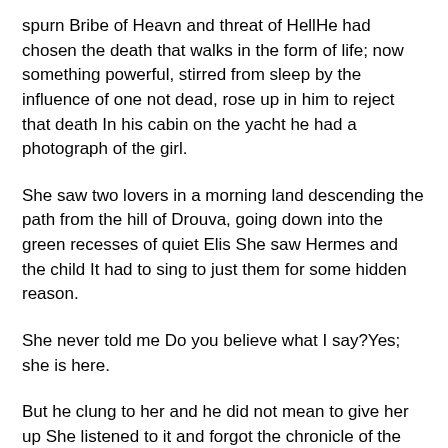spurn Bribe of Heavn and threat of HellHe had chosen the death that walks in the form of life; now something powerful, stirred from sleep by the influence of one not dead, rose up in him to reject that death In his cabin on the yacht he had a photograph of the girl.
She saw two lovers in a morning land descending the path from the hill of Drouva, going down into the green recesses of quiet Elis She saw Hermes and the child It had to sing to just them for some hidden reason.
She never told me Do you believe what I say?Yes; she is here.
But he clung to her and he did not mean to give her up She listened to it and forgot the chronicle of the passing hour.
Why should he fear the evil of a woman who was bad? Perhaps in the